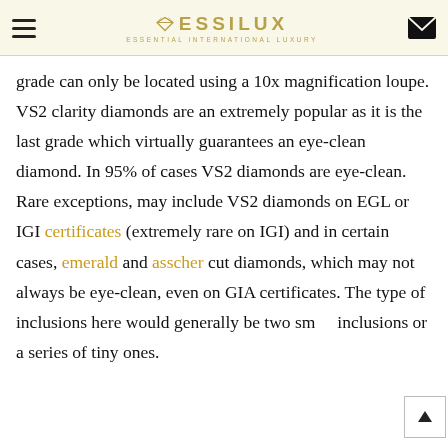ESSILUX — ESSENTIAL INTERNATIONAL LUXURY
grade can only be located using a 10x magnification loupe. VS2 clarity diamonds are an extremely popular as it is the last grade which virtually guarantees an eye-clean diamond. In 95% of cases VS2 diamonds are eye-clean. Rare exceptions, may include VS2 diamonds on EGL or IGI certificates (extremely rare on IGI) and in certain cases, emerald and asscher cut diamonds, which may not always be eye-clean, even on GIA certificates. The type of inclusions here would generally be two small inclusions or a series of tiny ones.